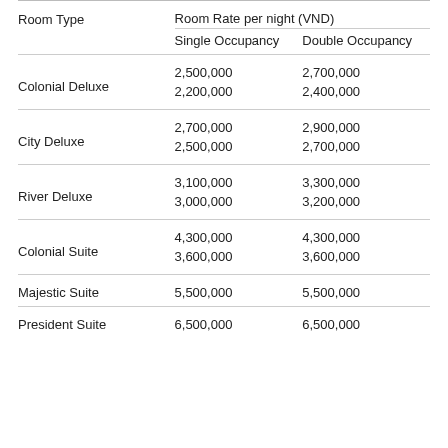| Room Type | Single Occupancy | Double Occupancy |
| --- | --- | --- |
| Colonial Deluxe | 2,500,000 / 2,200,000 | 2,700,000 / 2,400,000 |
| City Deluxe | 2,700,000 / 2,500,000 | 2,900,000 / 2,700,000 |
| River Deluxe | 3,100,000 / 3,000,000 | 3,300,000 / 3,200,000 |
| Colonial Suite | 4,300,000 / 3,600,000 | 4,300,000 / 3,600,000 |
| Majestic Suite | 5,500,000 | 5,500,000 |
| President Suite | 6,500,000 | 6,500,000 |